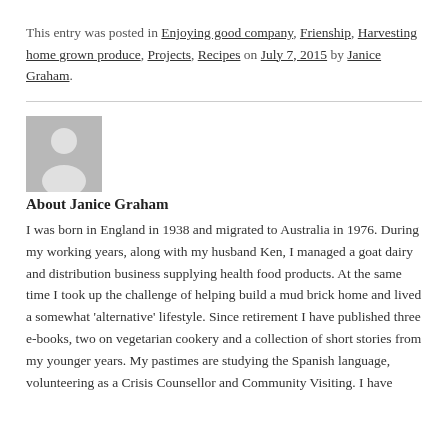This entry was posted in Enjoying good company, Frienship, Harvesting home grown produce, Projects, Recipes on July 7, 2015 by Janice Graham.
[Figure (illustration): Generic grey user avatar placeholder image showing a silhouette of a person]
About Janice Graham
I was born in England in 1938 and migrated to Australia in 1976. During my working years, along with my husband Ken, I managed a goat dairy and distribution business supplying health food products. At the same time I took up the challenge of helping build a mud brick home and lived a somewhat 'alternative' lifestyle. Since retirement I have published three e-books, two on vegetarian cookery and a collection of short stories from my younger years. My pastimes are studying the Spanish language, volunteering as a Crisis Counsellor and Community Visiting. I have